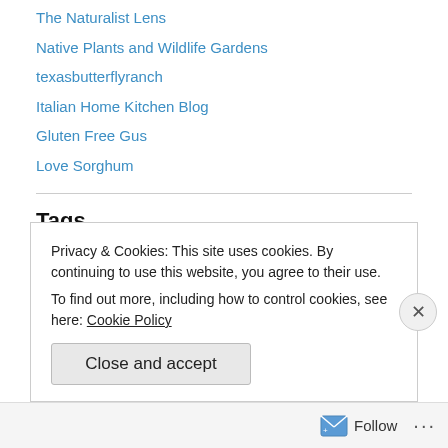The Naturalist Lens
Native Plants and Wildlife Gardens
texasbutterflyranch
Italian Home Kitchen Blog
Gluten Free Gus
Love Sorghum
Tags
Barrington restaurant chicken salad Chinese food corned beef and cabbage dumplings Egg Harbor Cafe Evanston flavor frozen GF buns GF muffins GF ravioli gluten free gluten free food gluten free
Privacy & Cookies: This site uses cookies. By continuing to use this website, you agree to their use.
To find out more, including how to control cookies, see here: Cookie Policy
Close and accept
Follow